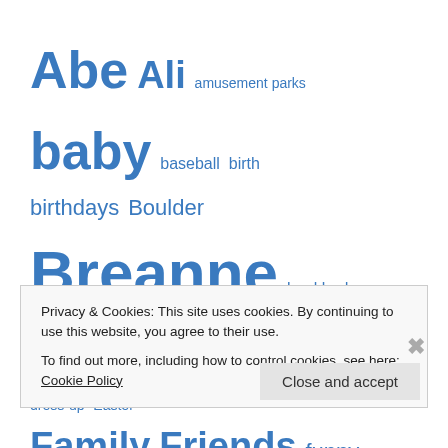[Figure (infographic): Tag cloud with words in varying sizes and blue color. Words include: Abe, Ali, amusement parks, baby, baseball, birth, birthdays, Boulder, Breanne, bunkbeds, bunnies, camping, candy, change, chocolate, Christmas, dress-up, Easter, Family, Friends, funny things the kids say, haircut, hiking, homebirth, independence, kids, messes, minivan, Mom and Owen, moving, museums, noses, outdoors, races]
Privacy & Cookies: This site uses cookies. By continuing to use this website, you agree to their use. To find out more, including how to control cookies, see here: Cookie Policy
Close and accept